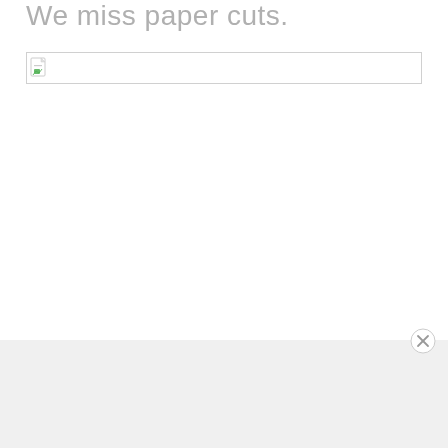We miss paper cuts.
[Figure (other): Broken image placeholder with file icon, shown as a bordered rectangle with a small document icon in the top-left corner]
Advertisements
[Figure (logo): WordPress VIP logo — circular WordPress W icon followed by 'vip' text in bold]
[Figure (other): Advertisement banner with peach/orange gradient background containing a 'Learn more →' button in a dark pill shape]
[Figure (other): Close/dismiss button (circle with X) for the advertisement overlay]